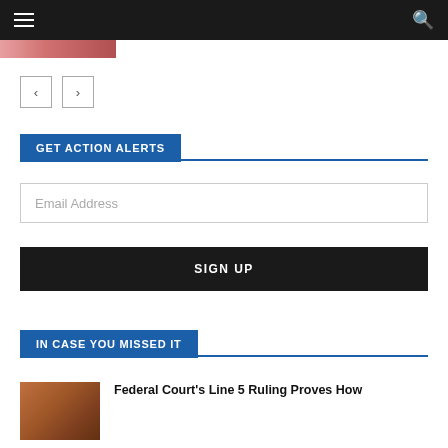Navigation bar with hamburger menu and search icon
[Figure (photo): Partial pink/red image strip at top left]
[Figure (other): Previous and next navigation arrow buttons]
GET ACTION ALERTS
Email Address
SIGN UP
IN CASE YOU MISSED IT
[Figure (photo): Article thumbnail showing close-up of what appears to be a musical instrument or similar object]
Federal Court's Line 5 Ruling Proves How